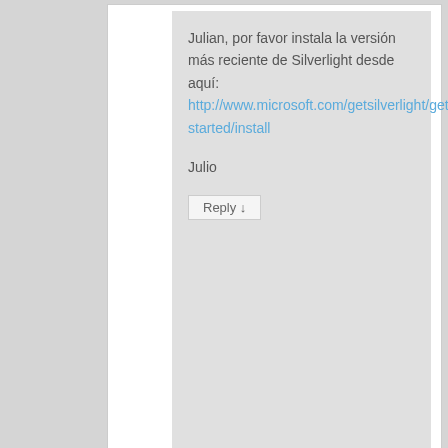Julian, por favor instala la versión más reciente de Silverlight desde aquí: http://www.microsoft.com/getsilverlight/get-started/install
Julio
Reply ↓
[Figure (illustration): Blue and white geometric pattern avatar for user heriberto]
heriberto on June 23, 2012 at 11:50 pm said:
Solo bueno
Reply ↓